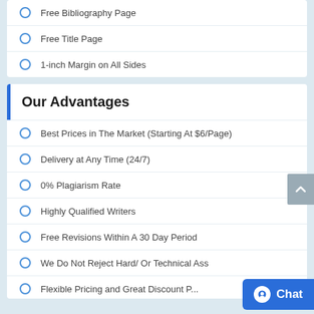Free Bibliography Page
Free Title Page
1-inch Margin on All Sides
Our Advantages
Best Prices in The Market (Starting At $6/Page)
Delivery at Any Time (24/7)
0% Plagiarism Rate
Highly Qualified Writers
Free Revisions Within A 30 Day Period
We Do Not Reject Hard/ Or Technical Ass
Flexible Pricing and Great Discount P...